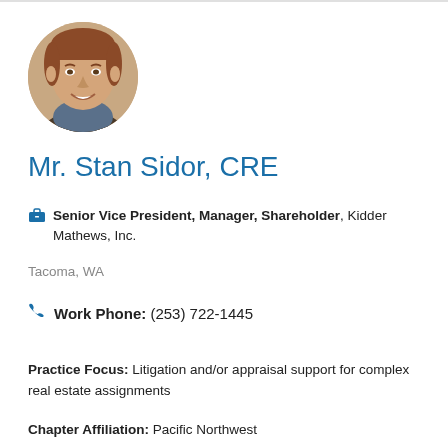[Figure (photo): Circular headshot photo of Mr. Stan Sidor, a man with reddish-brown hair, smiling, wearing a suit.]
Mr. Stan Sidor, CRE
Senior Vice President, Manager, Shareholder, Kidder Mathews, Inc.
Tacoma, WA
Work Phone: (253) 722-1445
Practice Focus: Litigation and/or appraisal support for complex real estate assignments
Chapter Affiliation: Pacific Northwest